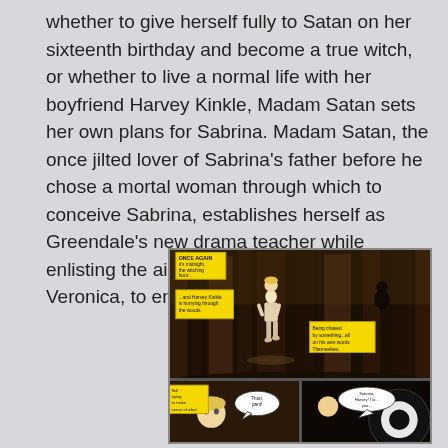whether to give herself fully to Satan on her sixteenth birthday and become a true witch, or whether to live a normal life with her boyfriend Harvey Kinkle, Madam Satan sets her own plans for Sabrina. Madam Satan, the once jilted lover of Sabrina's father before he chose a mortal woman through which to conceive Sabrina, establishes herself as Greendale's new drama teacher while enlisting the aid of Riverdale girls, Betty and Veronica, to entirely upend Sabrina's life.
[Figure (illustration): Comic book illustration showing a young male character (Harvey Kinkle) running through a dark forest at night with tall trees. Yellow caption boxes read 'ONCE AGAIN it's midnight, the witching hour...' and '...and Harvey Kinkle is hurrying through the woods.' and 'Being chased by something...all on his own words Themselves.' Bottom panel shows two split scenes from the comic with speech bubbles.]